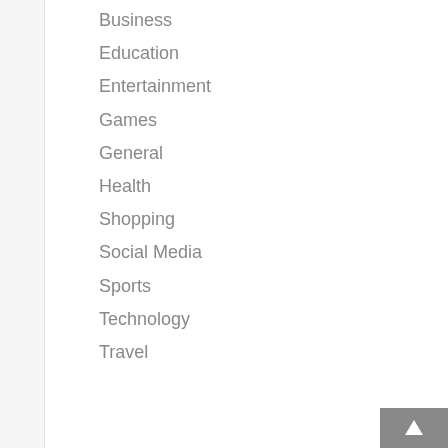Business
Education
Entertainment
Games
General
Health
Shopping
Social Media
Sports
Technology
Travel